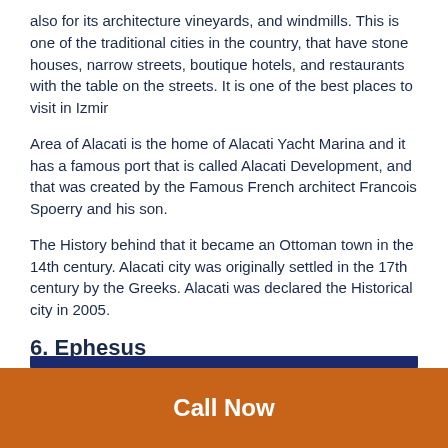also for its architecture vineyards, and windmills. This is one of the traditional cities in the country, that have stone houses, narrow streets, boutique hotels, and restaurants with the table on the streets. It is one of the best places to visit in Izmir
Area of Alacati is the home of Alacati Yacht Marina and it has a famous port that is called Alacati Development, and that was created by the Famous French architect Francois Spoerry and his son.
The History behind that it became an Ottoman town in the 14th century. Alacati city was originally settled in the 17th century by the Greeks. Alacati was declared the Historical city in 2005.
6. Ephesus
Call Now